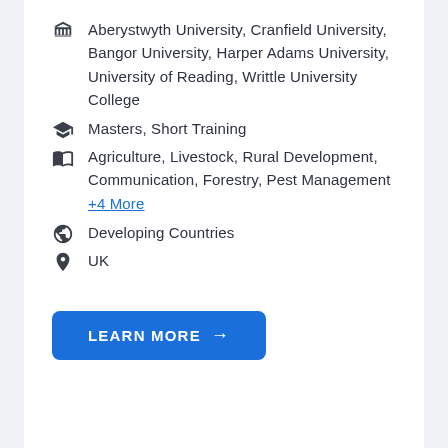Aberystwyth University, Cranfield University, Bangor University, Harper Adams University, University of Reading, Writtle University College
Masters, Short Training
Agriculture, Livestock, Rural Development, Communication, Forestry, Pest Management +4 More
Developing Countries
UK
LEARN MORE →